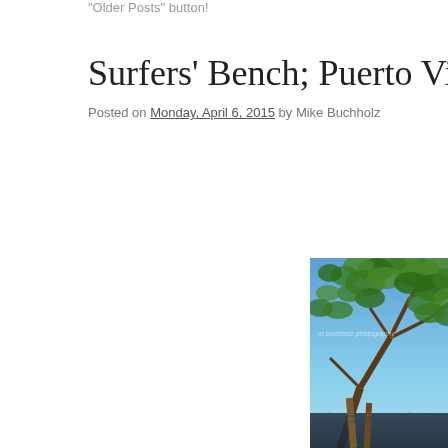"Older Posts" button!
Surfers' Bench; Puerto Viejo, Costa Rica
Posted on Monday, April 6, 2015 by Mike Buchholz
[Figure (photo): Upward-angled photograph of a large tropical tree with green leafy canopy against a clear blue sky, with a wooden structure covered by a dark tarp visible at the bottom. Watermark reads 'm.buchholz photography' in the upper left area.]